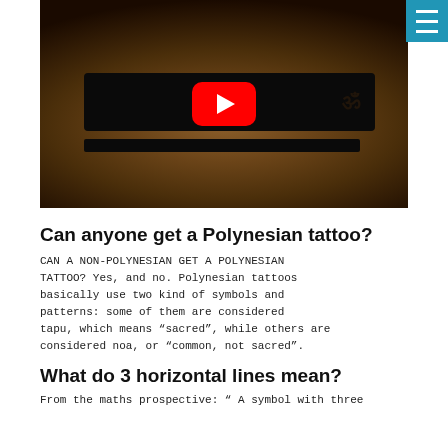[Figure (screenshot): YouTube video thumbnail showing a wrist/arm with a black Polynesian tattoo band and Om symbol, with a red YouTube play button overlay]
Can anyone get a Polynesian tattoo?
CAN A NON-POLYNESIAN GET A POLYNESIAN TATTOO? Yes, and no. Polynesian tattoos basically use two kind of symbols and patterns: some of them are considered tapu, which means “sacred”, while others are considered noa, or “common, not sacred”.
What do 3 horizontal lines mean?
From the maths prospective: “ A symbol with three